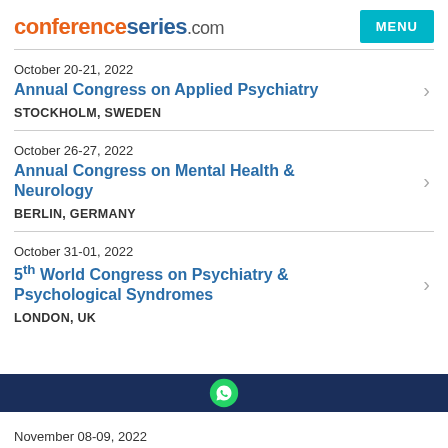conferenceseries.com
October 20-21, 2022
Annual Congress on Applied Psychiatry
STOCKHOLM, SWEDEN
October 26-27, 2022
Annual Congress on Mental Health & Neurology
BERLIN, GERMANY
October 31-01, 2022
5th World Congress on Psychiatry & Psychological Syndromes
LONDON, UK
November 08-09, 2022